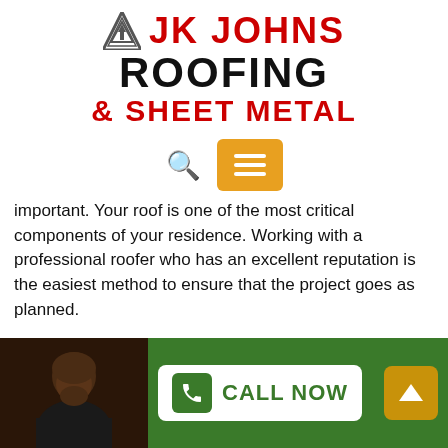[Figure (logo): JK Johns Roofing & Sheet Metal logo with red and black bold text and a triangular icon]
[Figure (infographic): Search magnifying glass icon and orange/yellow hamburger menu button]
important. Your roof is one of the most critical components of your residence. Working with a professional roofer who has an excellent reputation is the easiest method to ensure that the project goes as planned.
.
When you think of commercial roofing in Wildwood think JK Johns Roofing & Sheet Metal, Inc.
[Figure (photo): Photo of a bearded man wearing a dark shirt, shown from shoulders up, on a dark background]
[Figure (infographic): Green footer bar with a Call Now button (white rounded rectangle with phone icon) and a gold up-arrow button]